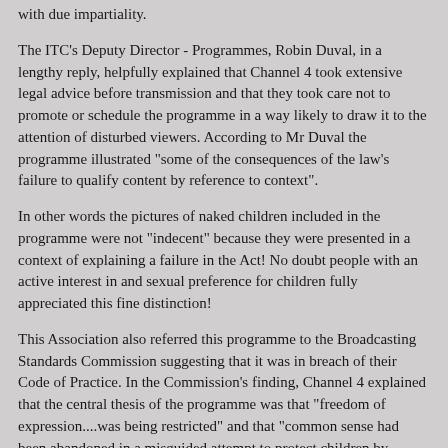with due impartiality.
The ITC's Deputy Director - Programmes, Robin Duval, in a lengthy reply, helpfully explained that Channel 4 took extensive legal advice before transmission and that they took care not to promote or schedule the programme in a way likely to draw it to the attention of disturbed viewers. According to Mr Duval the programme illustrated "some of the consequences of the law's failure to qualify content by reference to context".
In other words the pictures of naked children included in the programme were not "indecent" because they were presented in a context of explaining a failure in the Act! No doubt people with an active interest in and sexual preference for children fully appreciated this fine distinction!
This Association also referred this programme to the Broadcasting Standards Commission suggesting that it was in breach of their Code of Practice. In the Commission's finding, Channel 4 explained that the central thesis of the programme was that "freedom of expression....was being restricted" and that "common sense had been abandoned in a misguided attempt to protect children by demonising natural images of childhood.... The decision to transmit at 9.00pm rather than a later time was to avoid the risk of some viewers imputing to the photographic images....a perceived indecency which did not exist".